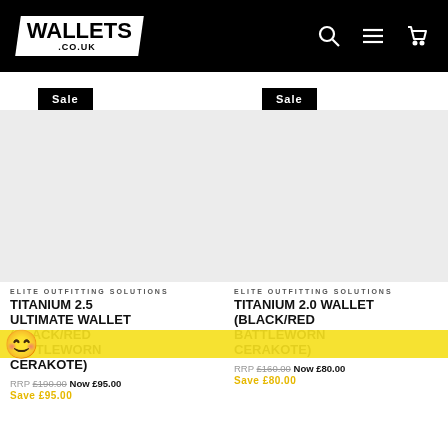[Figure (logo): Wallets.co.uk logo — white box with bold text on black header bar, alongside search, menu, and cart icons]
[Figure (photo): Product image placeholder area for Titanium 2.5 Ultimate Wallet (Black/Red Battleworn Cerakote) with Sale badge]
ELITE OUTFITTING SOLUTIONS
TITANIUM 2.5 ULTIMATE WALLET (BLACK/RED BATTLEWORN CERAKOTE)
RRP £190.00 Now £95.00
Save £95.00
[Figure (photo): Product image placeholder area for Titanium 2.0 Wallet (Black/Red Battleworn Cerakote) with Sale badge]
ELITE OUTFITTING SOLUTIONS
TITANIUM 2.0 WALLET (BLACK/RED BATTLEWORN CERAKOTE)
RRP £160.00 Now £80.00
Save £80.00